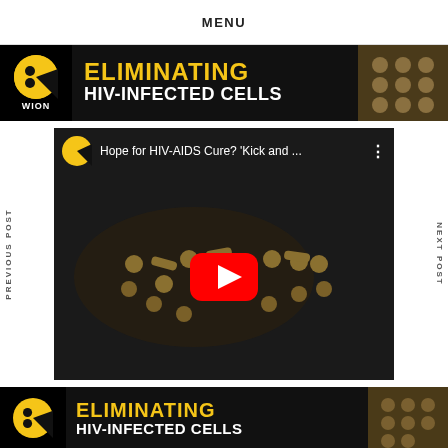MENU
[Figure (screenshot): WION news banner with yellow logo showing 'ELIMINATING HIV-INFECTED CELLS' text over dark background with gold pill capsules]
[Figure (screenshot): YouTube video embed titled 'Hope for HIV-AIDS Cure? Kick and ...' showing gold HIV letters made of pills/balls on dark background with YouTube play button overlay]
PREVIOUS POST
NEXT POST
[Figure (screenshot): WION news banner showing 'ELIMINATING HIV-INFECTED CELLS' partially visible at bottom of page]